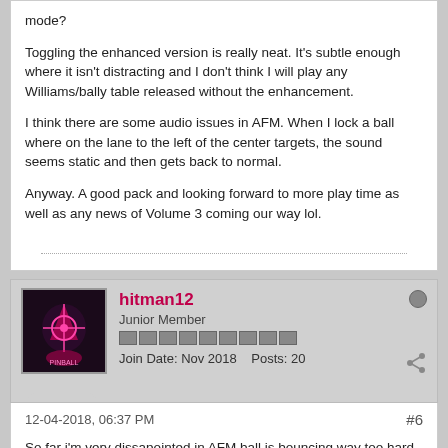mode?
Toggling the enhanced version is really neat. It's subtle enough where it isn't distracting and I don't think I will play any Williams/bally table released without the enhancement.
I think there are some audio issues in AFM. When I lock a ball where on the lane to the left of the center targets, the sound seems static and then gets back to normal.
Anyway. A good pack and looking forward to more play time as well as any news of Volume 3 coming our way lol.
hitman12
Junior Member
Join Date: Nov 2018    Posts: 20
12-04-2018, 06:37 PM
#6
So far i'm very dissapointed in AFM,ball is bouncing way too hard from the flippers,it's very unrealistic and ball is draining so fast it kills all fun from playing on this table.in this stage AFM is very frustrating and i have absolutely no fun from gameplay.I played other tables and everything is fine,only AFM seems to have problems with ball draining and need some shots and physics adjustment.I hope Zen will fix this table soon cause its best from this pack and in this state AFM is simply unplayable.I'm so...